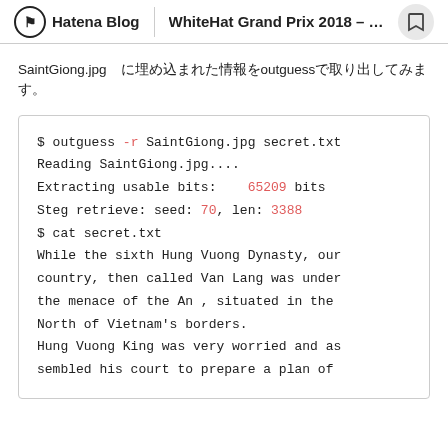Hatena Blog | WhiteHat Grand Prix 2018 – Quals...
SaintGiong.jpg　に埋め込まれた情報をoutguessで取り出してみます。
$ outguess -r SaintGiong.jpg secret.txt
Reading SaintGiong.jpg....
Extracting usable bits:    65209 bits
Steg retrieve: seed: 70, len: 3388
$ cat secret.txt
While the sixth Hung Vuong Dynasty, our country, then called Van Lang was under the menace of the An , situated in the North of Vietnam's borders.
Hung Vuong King was very worried and as sembled his court to prepare a plan of